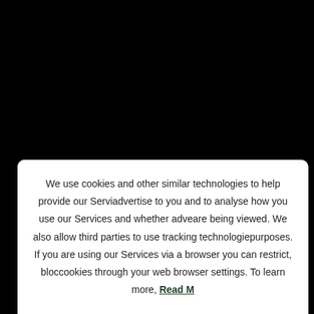We use cookies and other similar technologies to help provide our Services, advertise to you and to analyse how you use our Services and whether advertisements are being viewed. We also allow third parties to use tracking technologies for these purposes. If you are using our Services via a browser you can restrict, block or delete cookies through your web browser settings. To learn more, Read More
SAVE ALL COOKIES
Manage cookies
aviation and desire to ensure the efficient training solutions for both pilots and airlines.
Privacy & Cookies